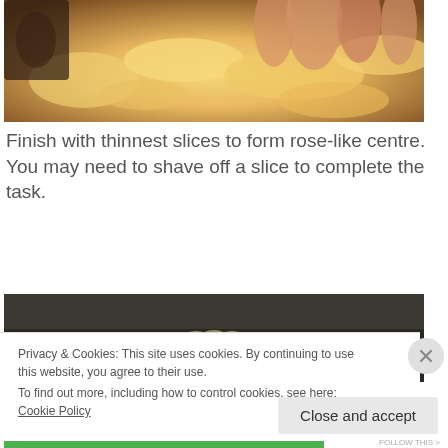[Figure (photo): Close-up photo of fingers pressing cookie dough slices into a rose-like pattern, yellow/golden dough visible]
Finish with thinnest slices to form rose-like centre. You may need to shave off a slice to complete the task.
[Figure (photo): Photo of a finished flower/rose-shaped cookie on a dark surface]
Privacy & Cookies: This site uses cookies. By continuing to use this website, you agree to their use.
To find out more, including how to control cookies, see here: Cookie Policy
Close and accept